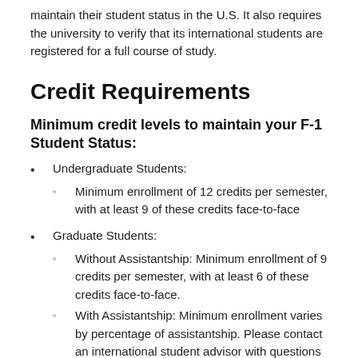maintain their student status in the U.S. It also requires the university to verify that its international students are registered for a full course of study.
Credit Requirements
Minimum credit levels to maintain your F-1 Student Status:
Undergraduate Students:
Minimum enrollment of 12 credits per semester, with at least 9 of these credits face-to-face
Graduate Students:
Without Assistantship: Minimum enrollment of 9 credits per semester, with at least 6 of these credits face-to-face.
With Assistantship: Minimum enrollment varies by percentage of assistantship. Please contact an international student advisor with questions on